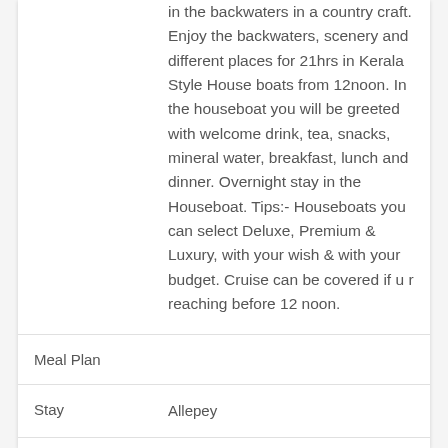in the backwaters in a country craft. Enjoy the backwaters, scenery and different places for 21hrs in Kerala Style House boats from 12noon. In the houseboat you will be greeted with welcome drink, tea, snacks, mineral water, breakfast, lunch and dinner. Overnight stay in the Houseboat. Tips:- Houseboats you can select Deluxe, Premium & Luxury, with your wish & with your budget. Cruise can be covered if u r reaching before 12 noon.
Meal Plan
Stay	Allepey
Date
Place	Day 03 Trivandrum ( sree padmanabha swami temple